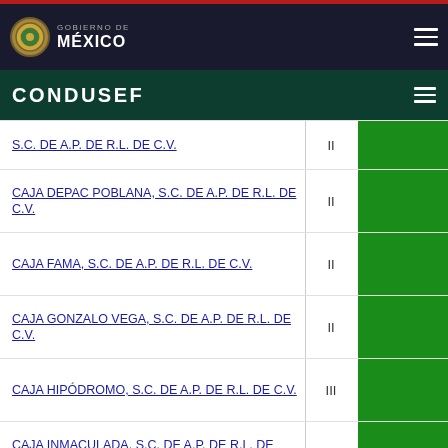GOBIERNO DE MÉXICO
CONDUSEF
| Nombre | Nivel |  |
| --- | --- | --- |
| S.C. DE A.P. DE R.L. DE C.V. | II |  |
| CAJA DEPAC POBLANA, S.C. DE A.P. DE R.L. DE C.V. | II |  |
| CAJA FAMA, S.C. DE A.P. DE R.L. DE C.V. | II |  |
| CAJA GONZALO VEGA, S.C. DE A.P. DE R.L. DE C.V. | II |  |
| CAJA HIPÓDROMO, S.C. DE A.P. DE R.L. DE C.V. | III |  |
| CAJA INMACULADA, S.C. DE A.P. DE R.L. DE C.V. | III |  |
| CAJA ITZAEZ, S.C. DE A.P. DE R.L. DE C.V. | II |  |